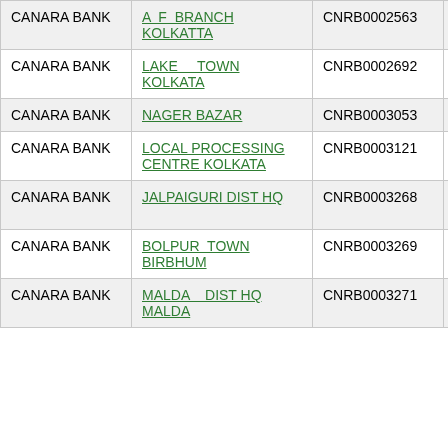| CANARA BANK | A F BRANCH KOLKATTA | CNRB0002563 | NA |
| CANARA BANK | LAKE TOWN KOLKATA | CNRB0002692 | NA |
| CANARA BANK | NAGER BAZAR | CNRB0003053 | NA |
| CANARA BANK | LOCAL PROCESSING CENTRE KOLKATA | CNRB0003121 | NA |
| CANARA BANK | JALPAIGURI DIST HQ | CNRB0003268 | 735015002 |
| CANARA BANK | BOLPUR TOWN BIRBHUM | CNRB0003269 | 731015002 |
| CANARA BANK | MALDA DIST HQ MALDA | CNRB0003271 | 732015102 |